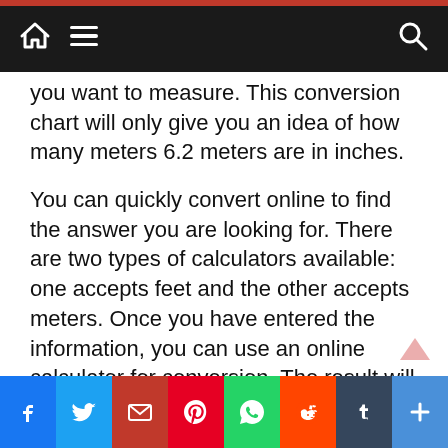Navigation bar with home, menu, and search icons
you want to measure. This conversion chart will only give you an idea of how many meters 6.2 meters are in inches.
You can quickly convert online to find the answer you are looking for. There are two types of calculators available: one accepts feet and the other accepts meters. Once you have entered the information, you can use an online calculator for conversion. The result will be displayed in meters, feet, or inches. A calculator that accepts fractions or inches will allow you to get a more precise result.
The meter is the fundamental unit of length in the International System of Units (SI) system. A meter is one-tenth of a second, or 6.2 meters is the length of a hundredth of a second. In the imperial system, a foot